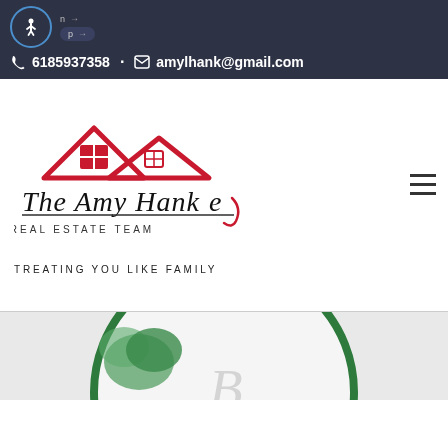6185937358 · amylhank@gmail.com
[Figure (logo): The Amy Hanke Real Estate Team logo with red house roofline graphic and script text]
TREATING YOU LIKE FAMILY
[Figure (photo): Partial circular logo or badge with green border and decorative illustration, partially visible at bottom of page]